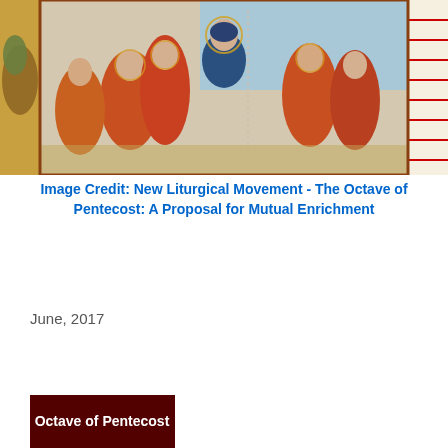[Figure (illustration): Medieval illuminated manuscript image showing robed figures gathered together, one central figure in blue with hands raised, others in orange/red robes around them, set against decorative manuscript border with red ruled lines]
Image Credit: New Liturgical Movement - The Octave of Pentecost: A Proposal for Mutual Enrichment
June, 2017
Paschaltide III/Pentecost
[Figure (photo): Dark red/maroon banner image with white text reading 'Octave of Pentecost']